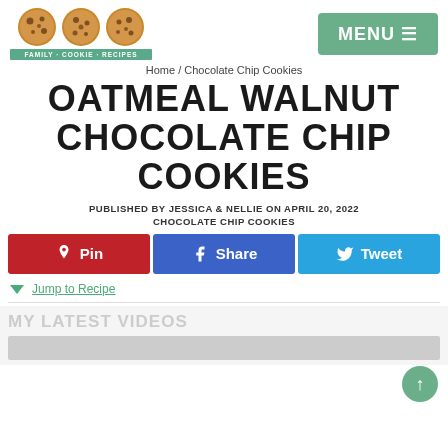[Figure (logo): Family Cookie Recipes logo with three chocolate chip cookie circles and a green banner]
[Figure (screenshot): Green MENU button with hamburger icon]
Home / Chocolate Chip Cookies
OATMEAL WALNUT CHOCOLATE CHIP COOKIES
PUBLISHED BY JESSICA & NELLIE ON APRIL 20, 2022
CHOCOLATE CHIP COOKIES
[Figure (infographic): Share buttons row: Pin (red), Share (blue), Tweet (light blue)]
Jump to Recipe
MY LATEST VIDEOS
[Figure (screenshot): Video thumbnail placeholder gray area]